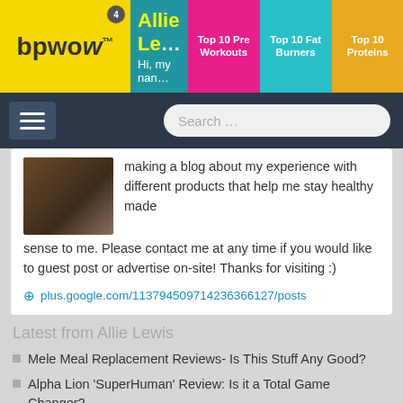bpwow | Top 10 Pre Workouts | Top 10 Fat Burners | Top 10 Proteins
Allie Lewis - Hi, my nam...
making a blog about my experience with different products that help me stay healthy made sense to me. Please contact me at any time if you would like to guest post or advertise on-site! Thanks for visiting :)
plus.google.com/113794509714236366127/posts
Latest from Allie Lewis
Mele Meal Replacement Reviews- Is This Stuff Any Good?
Alpha Lion 'SuperHuman' Review: Is it a Total Game Changer?
Sun Potion Reviews: Does This $50 Elixir Actually Work?
Your Super 'Super Greens Mix' Reviews: The King of Greens?